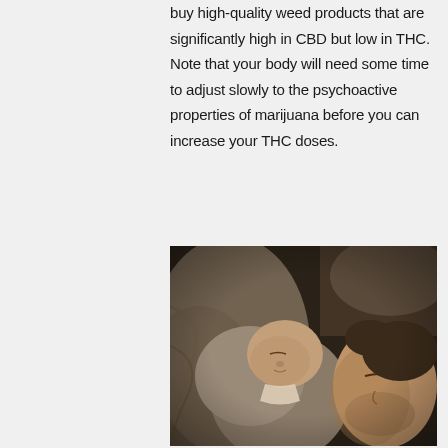But if you're new to cannabis, it is essential to buy high-quality weed products that are significantly high in CBD but low in THC. Note that your body will need some time to adjust slowly to the psychoactive properties of marijuana before you can increase your THC doses.
[Figure (photo): A man and a newborn baby sleeping together, both with eyes closed, wrapped in soft grey blankets. Close-up photo with warm sepia tones.]